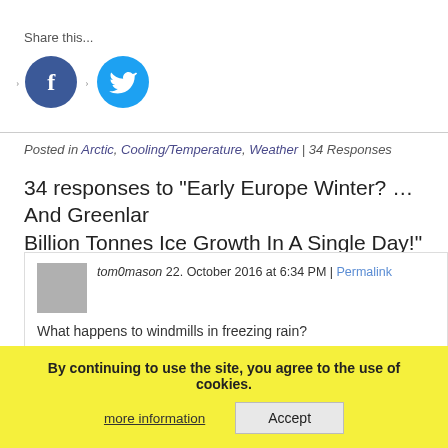Share this...
[Figure (other): Facebook and Twitter social share buttons with dots preceding each]
Posted in Arctic, Cooling/Temperature, Weather | 34 Responses
34 responses to “Early Europe Winter? …And Greenland Billion Tonnes Ice Growth In A Single Day!”
tom0mason 22. October 2016 at 6:34 PM | Permalink
What happens to windmills in freezing rain?
AndyG55 22. October 2016 at 6:32 PM | Permalink
They get the fossil fuelled heaters out. !
By continuing to use the site, you agree to the use of cookies.
more information
Accept